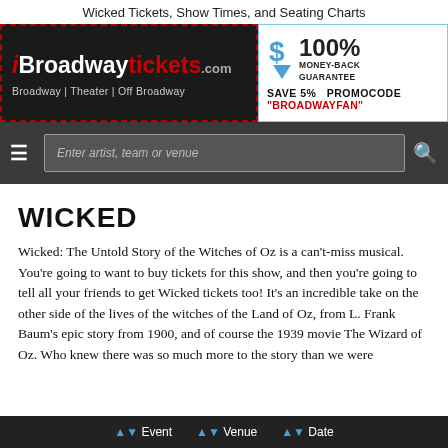Wicked Tickets, Show Times, and Seating Charts
[Figure (logo): iBroadwaytickets.com logo with Broadway | Theater | Off Broadway tagline on dark background with dashed red border]
[Figure (infographic): 100% Money-Back Guarantee badge with blue dollar sign arrow, Save 5% Promocode BROADWAYFAN text]
[Figure (screenshot): Navigation bar with hamburger menu, search box placeholder 'Enter artist, team or venue' and search icon]
WICKED
Wicked: The Untold Story of the Witches of Oz is a can't-miss musical. You're going to want to buy tickets for this show, and then you're going to tell all your friends to get Wicked tickets too! It's an incredible take on the other side of the lives of the witches of the Land of Oz, from L. Frank Baum's epic story from 1900, and of course the 1939 movie The Wizard of Oz. Who knew there was so much more to the story than we were
⬆⬇ Event   ⬆⬇ Venue   ⬆⬇ Date